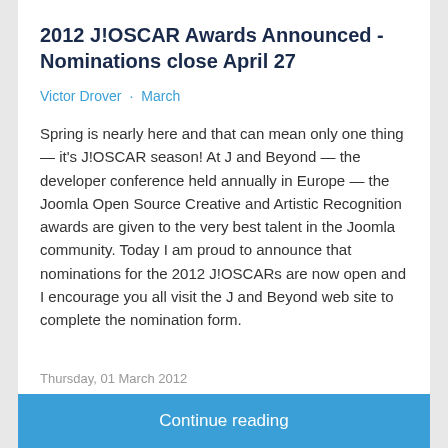2012 J!OSCAR Awards Announced - Nominations close April 27
Victor Drover · March
Spring is nearly here and that can mean only one thing — it's J!OSCAR season! At J and Beyond — the developer conference held annually in Europe — the Joomla Open Source Creative and Artistic Recognition awards are given to the very best talent in the Joomla community. Today I am proud to announce that nominations for the 2012 J!OSCARs are now open and I encourage you all visit the J and Beyond web site to complete the nomination form.
Thursday, 01 March 2012
Continue reading